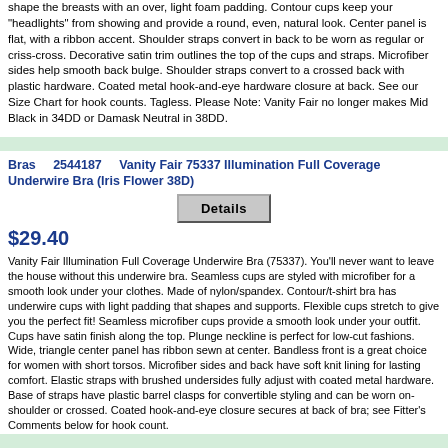shape the breasts with an over, light foam padding. Contour cups keep your "headlights" from showing and provide a round, even, natural look. Center panel is flat, with a ribbon accent. Shoulder straps convert in back to be worn as regular or criss-cross. Decorative satin trim outlines the top of the cups and straps. Microfiber sides help smooth back bulge. Shoulder straps convert to a crossed back with plastic hardware. Coated metal hook-and-eye hardware closure at back. See our Size Chart for hook counts. Tagless. Please Note: Vanity Fair no longer makes Mid Black in 34DD or Damask Neutral in 38DD.
Bras   2544187   Vanity Fair 75337 Illumination Full Coverage Underwire Bra (Iris Flower 38D)
Details
$29.40
Vanity Fair Illumination Full Coverage Underwire Bra (75337). You'll never want to leave the house without this underwire bra. Seamless cups are styled with microfiber for a smooth look under your clothes. Made of nylon/spandex. Contour/t-shirt bra has underwire cups with light padding that shapes and supports. Flexible cups stretch to give you the perfect fit! Seamless microfiber cups provide a smooth look under your outfit. Cups have satin finish along the top. Plunge neckline is perfect for low-cut fashions. Wide, triangle center panel has ribbon sewn at center. Bandless front is a great choice for women with short torsos. Microfiber sides and back have soft knit lining for lasting comfort. Elastic straps with brushed undersides fully adjust with coated metal hardware. Base of straps have plastic barrel clasps for convertible styling and can be worn on-shoulder or crossed. Coated hook-and-eye closure secures at back of bra; see Fitter's Comments below for hook count.